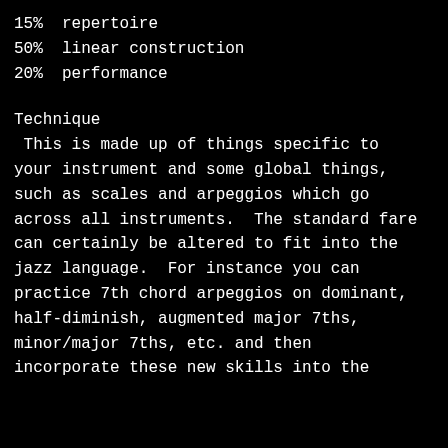15%  repertoire
50%  linear construction
20%  performance
Technique
This is made up of things specific to your instrument and some global things, such as scales and arpeggios which go across all instruments.  The standard fare can certainly be altered to fit into the jazz language.  For instance you can practice 7th chord arpeggios on dominant, half-diminish, augmented major 7ths, minor/major 7ths, etc. and then incorporate these new skills into the